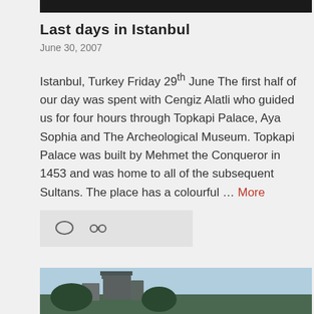[Figure (photo): Top dark image strip, partial view of a photo]
Last days in Istanbul
June 30, 2007
Istanbul, Turkey Friday 29th June The first half of our day was spent with Cengiz Alatli who guided us for four hours through Topkapi Palace, Aya Sophia and The Archeological Museum. Topkapi Palace was built by Mehmet the Conqueror in 1453 and was home to all of the subsequent Sultans. The place has a colourful … More
[Figure (other): Icon bar with comment bubble and link icons on grey background]
[Figure (photo): Bottom partial photo showing a castle or fortress on a hill with trees and a light blue sky]